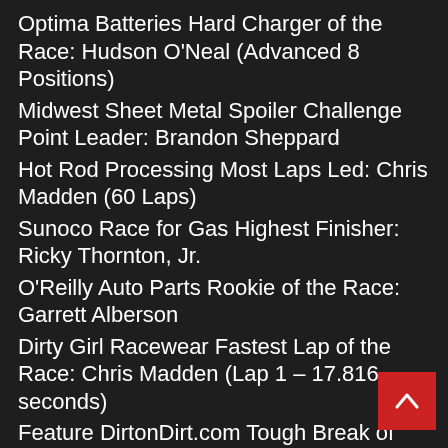Optima Batteries Hard Charger of the Race: Hudson O'Neal (Advanced 8 Positions)
Midwest Sheet Metal Spoiler Challenge Point Leader: Brandon Sheppard
Hot Rod Processing Most Laps Led: Chris Madden (60 Laps)
Sunoco Race for Gas Highest Finisher: Ricky Thornton, Jr.
O'Reilly Auto Parts Rookie of the Race: Garrett Alberson
Dirty Girl Racewear Fastest Lap of the Race: Chris Madden (Lap 1 – 17.816 seconds)
Feature DirtonDirt.com Tough Break of the Race: Ashton Winger
Outerwears Crew Chief of the Race: Ricky Arr… (Chris Madden)
ARP Engine Builder of the Race: Durham Racing